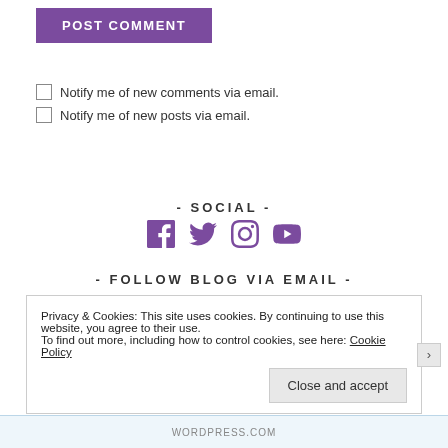POST COMMENT
Notify me of new comments via email.
Notify me of new posts via email.
- SOCIAL -
[Figure (illustration): Four social media icons: Facebook, Twitter, Instagram, YouTube in purple]
- FOLLOW BLOG VIA EMAIL -
Privacy & Cookies: This site uses cookies. By continuing to use this website, you agree to their use. To find out more, including how to control cookies, see here: Cookie Policy
Close and accept